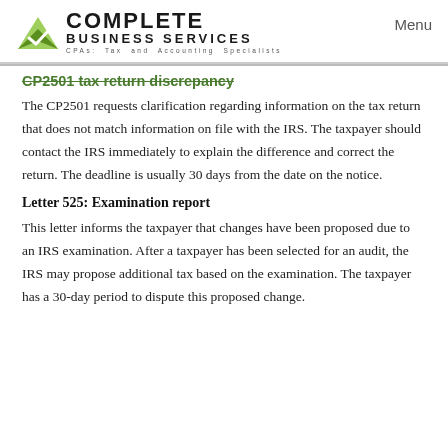[Figure (logo): Complete Business Services logo with green checkmark icon and tagline 'CPAs: Tax and Accounting Specialists']
Menu
CP2501 tax return discrepancy
The CP2501 requests clarification regarding information on the tax return that does not match information on file with the IRS. The taxpayer should contact the IRS immediately to explain the difference and correct the return. The deadline is usually 30 days from the date on the notice.
Letter 525: Examination report
This letter informs the taxpayer that changes have been proposed due to an IRS examination. After a taxpayer has been selected for an audit, the IRS may propose additional tax based on the examination. The taxpayer has a 30-day period to dispute this proposed change.